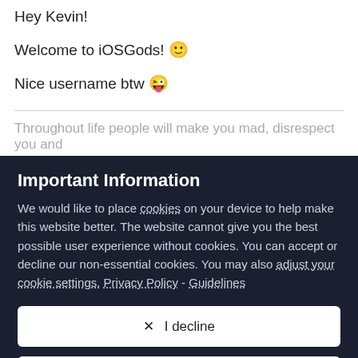Hey Kevin!
Welcome to iOSGods! 🙂
Nice username btw 😜
Throughout life people will make you mad, disrespect you and
Important Information
We would like to place cookies on your device to help make this website better. The website cannot give you the best possible user experience without cookies. You can accept or decline our non-essential cookies. You may also adjust your cookie settings. Privacy Policy - Guidelines
✕  I decline
✓  I accept